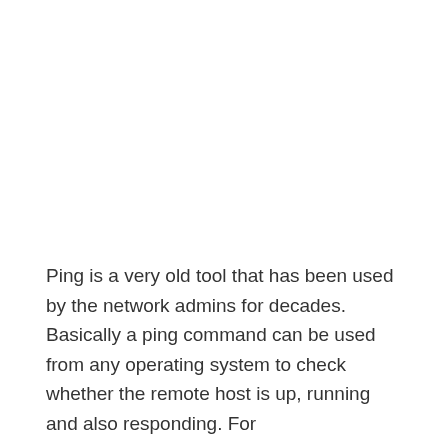Ping is a very old tool that has been used by the network admins for decades. Basically a ping command can be used from any operating system to check whether the remote host is up, running and also responding. For